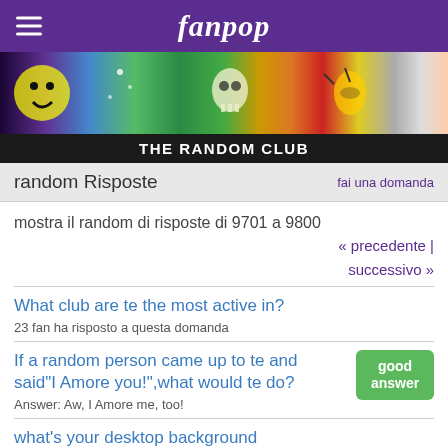fanpop
[Figure (photo): Colorful banner image with various themed images including smiley face, fireworks, skull, green figure, music notes, bees/yellow background, and other colorful imagery]
THE RANDOM CLUB
random Risposte
fai una domanda
mostra il random di risposte di 9701 a 9800
« precedente | successivo »
What club are te the most active in?
23 fan ha risposto a questa domanda
If a random person came up to te and said"I Amore you!",what would te do?
Answer: Aw, I Amore me, too!
what's your desktop background
11 fan ha risposto a questa domanda
What is the difference between "Award" and "Reward"?
3 fan ha risposto a questa domanda
Million, Billion, Trillion, Quadrillion, Quintillion, And then...